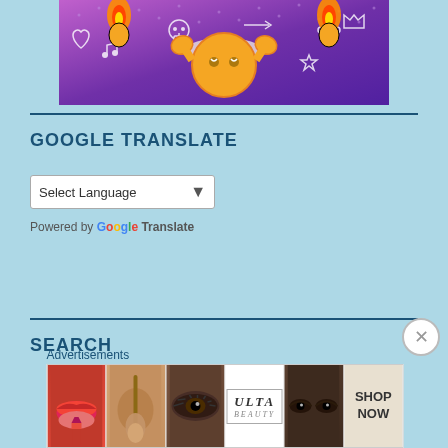[Figure (illustration): Colorful cartoon banner image with a purple/pink gradient background featuring doodle icons (skulls, hearts, stars, crowns) and a central cartoon sun/character with flames]
GOOGLE TRANSLATE
Select Language
Powered by Google Translate
SEARCH
[Figure (photo): Advertisement banner showing Ulta Beauty makeup advertisement with lips, brush, eyes and SHOP NOW text]